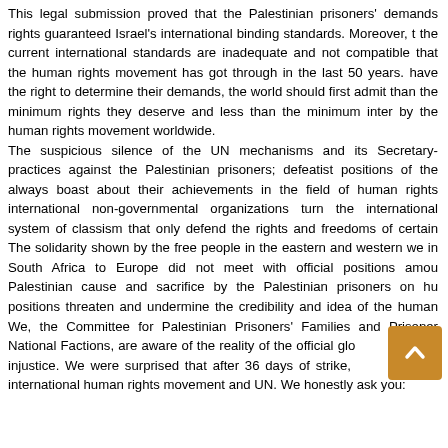This legal submission proved that the Palestinian prisoners' demands rights guaranteed Israel's international binding standards. Moreover, the current international standards are inadequate and not compatible that the human rights movement has got through in the last 50 years. have the right to determine their demands, the world should first admit than the minimum rights they deserve and less than the minimum inter by the human rights movement worldwide. The suspicious silence of the UN mechanisms and its Secretary-practices against the Palestinian prisoners; defeatist positions of the always boast about their achievements in the field of human rights international non-governmental organizations turn the international system of classism that only defend the rights and freedoms of certain The solidarity shown by the free people in the eastern and western we in South Africa to Europe did not meet with official positions amou Palestinian cause and sacrifice by the Palestinian prisoners on hu positions threaten and undermine the credibility and idea of the human We, the Committee for Palestinian Prisoners' Families and Prisoner National Factions, are aware of the reality of the official glo als a injustice. We were surprised that after 36 days of strike, ust international human rights movement and UN. We honestly ask you: